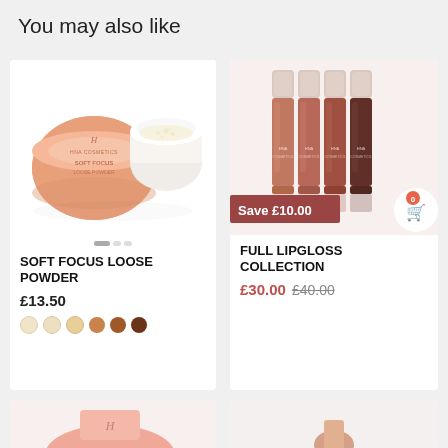You may also like
[Figure (photo): Product photo of Soft Focus Loose Powder compact and loose powder jar, peach/beige cosmetic containers on white background]
SOFT FOCUS LOOSE POWDER
£13.50
[Figure (illustration): Four lip gloss tubes in varying shades from nude to dark brown, pink caps, with 'Save £10.00' badge and shopping cart icon]
FULL LIPGLOSS COLLECTION
£30.00  £40.00
[Figure (photo): Partial view of a pink cosmetic product at bottom left]
[Figure (photo): Partial view of a cosmetic product at bottom right]